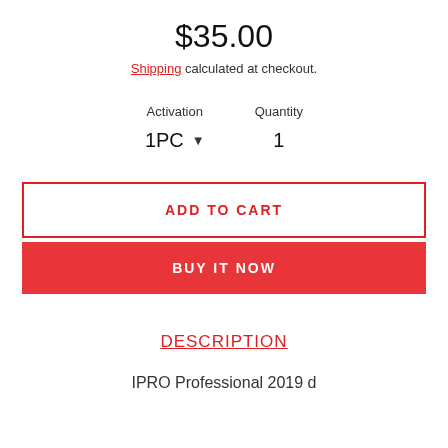$35.00
Shipping calculated at checkout.
Activation  1PC ▼   Quantity  1
ADD TO CART
BUY IT NOW
DESCRIPTION
IPRO Professional 2019 d